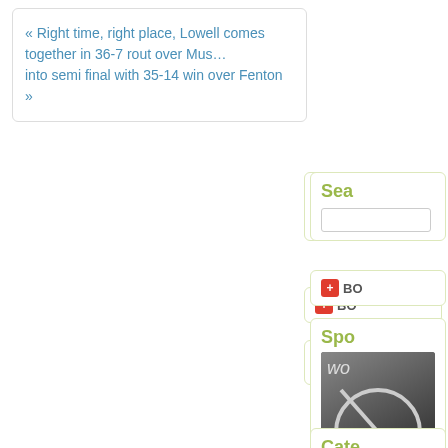« Right time, right place, Lowell comes together in 36-7 rout over Mus... into semi final with 35-14 win over Fenton »
Sea...
[Figure (other): Bookmark button with red plus icon and 'BO...' label]
Spo...
[Figure (photo): Dark grunge photo with handwritten text and a circle-strike symbol, with 'Learn...' overlay and 'View...' link below]
Cate...